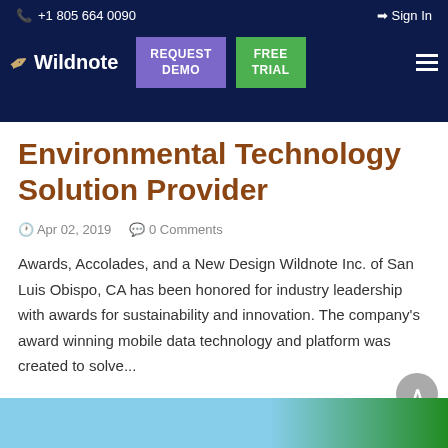+1 805 664 0090   Sign In
[Figure (logo): Wildnote logo with feather icon, REQUEST DEMO button (purple), FREE TRIAL button (green), hamburger menu]
Environmental Technology Solution Provider
Apr 02, 2019   0 Comments
Awards, Accolades, and a New Design Wildnote Inc. of San Luis Obispo, CA has been honored for industry leadership with awards for sustainability and innovation. The company's award winning mobile data technology and platform was created to solve...